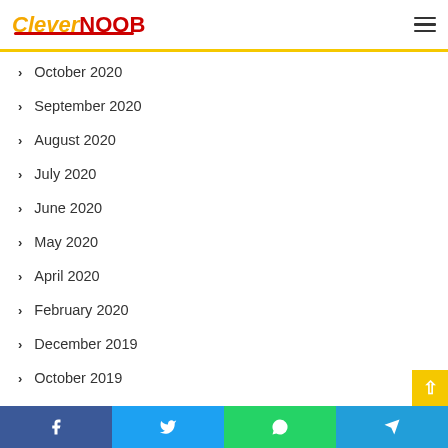CleverNOOB
October 2020
September 2020
August 2020
July 2020
June 2020
May 2020
April 2020
February 2020
December 2019
October 2019
September 2019
Facebook | Twitter | WhatsApp | Telegram